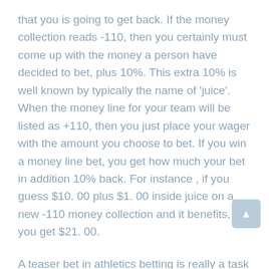that you is going to get back. If the money collection reads -110, then you certainly must come up with the money a person have decided to bet, plus 10%. This extra 10% is well known by typically the name of 'juice'. When the money line for your team will be listed as +110, then you just place your wager with the amount you choose to bet. If you win a money line bet, you get how much your bet in addition 10% back. For instance , if you guess $10. 00 plus $1. 00 inside juice on a new -110 money collection and it benefits, you get $21. 00.
A teaser bet in athletics betting is really a task bet lets you change the odds for your bet in either direction so that the wager is